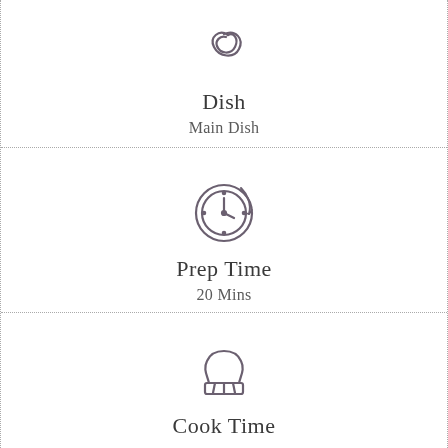[Figure (illustration): Dish icon - a plate with steam/food swirl]
Dish
Main Dish
[Figure (illustration): Clock/timer icon with circular arrow indicating prep time]
Prep Time
20 Mins
[Figure (illustration): Chef hat icon indicating cook time]
Cook Time